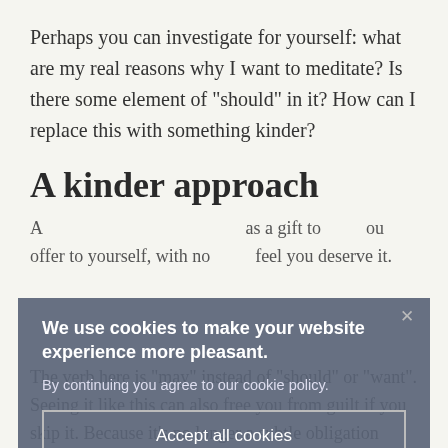Perhaps you can investigate for yourself: what are my real reasons why I want to meditate? Is there some element of "should" in it? How can I replace this with something kinder?
A kinder approach
A kinder approach is to see meditation as a gift to yourself, something you offer to yourself, with no obligations attached, because you feel you deserve it.
[Figure (screenshot): Cookie consent overlay with text 'We use cookies to make your website experience more pleasant. By continuing you agree to our cookie policy.' with 'Accept all cookies' button and 'More info' link, and an X close button.]
The verb here is "may" instead of "should" or "want". Seeing it like this can also free you from guilt if you skip it. Because it's no longer a subtle obligation...